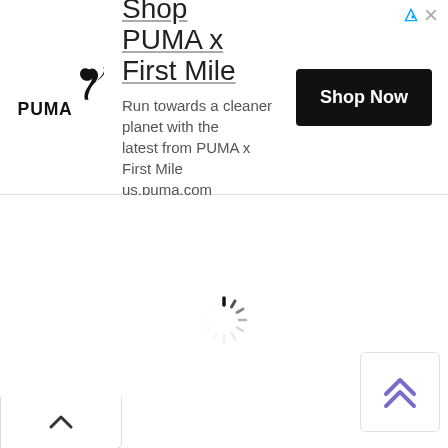[Figure (screenshot): PUMA advertisement banner showing PUMA logo, headline 'Shop PUMA x First Mile', subtext 'Run towards a cleaner planet with the latest from PUMA x First Mile us.puma.com', and a 'Shop Now' black button. Small ad icons (triangle and X) in top right corner.]
[Figure (screenshot): Collapse/chevron-up tab button below the ad banner, on the left side.]
[Figure (screenshot): Loading spinner (circular dashed spinner) centered in the white main content area.]
[Figure (screenshot): Scroll-to-top button with double chevron up arrows in purple/violet color, positioned in bottom right corner.]